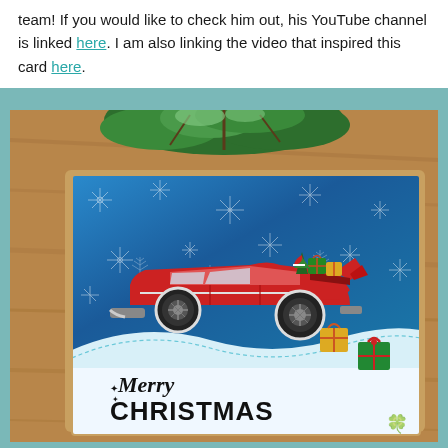team! If you would like to check him out, his YouTube channel is linked here. I am also linking the video that inspired this card here.
[Figure (photo): A handmade Christmas card featuring a classic red vintage car with an open trunk filled with wrapped gifts and a Christmas tree. The card has a blue snowflake-patterned background and reads 'Merry Christmas' in stylized black lettering. The card is photographed on a wooden surface with green foliage in the background.]